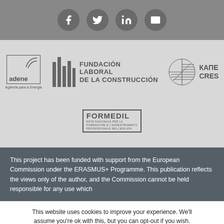[Figure (other): Social media sharing icons: Facebook, Twitter, LinkedIn, Email on grey circular buttons in a dark grey bar]
[Figure (logo): Four partner logos on light grey background: ADENE (Agência para a Energia), Fundación Laboral de la Construcción, КАΠΕ CRES, FORMEDIL]
This project has been funded with support from the European Commission under the ERASMUS+ Programme. This publication reflects the views only of the author, and the Commission cannot be held responsible for any use which
This website uses cookies to improve your experience. We'll assume you're ok with this, but you can opt-out if you wish.